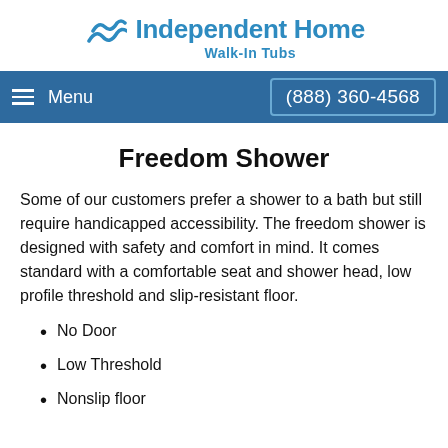[Figure (logo): Independent Home Walk-In Tubs logo with blue wave icon and blue text]
Menu  (888) 360-4568
Freedom Shower
Some of our customers prefer a shower to a bath but still require handicapped accessibility. The freedom shower is designed with safety and comfort in mind. It comes standard with a comfortable seat and shower head, low profile threshold and slip-resistant floor.
No Door
Low Threshold
Nonslip floor